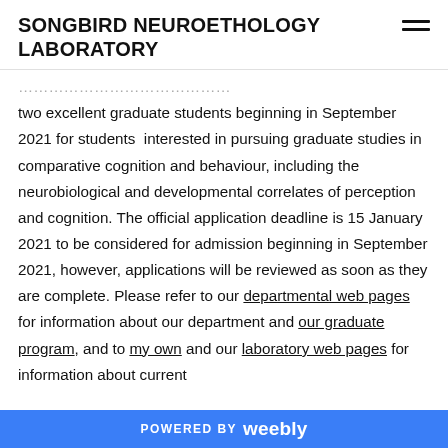SONGBIRD NEUROETHOLOGY LABORATORY
two excellent graduate students beginning in September 2021 for students interested in pursuing graduate studies in comparative cognition and behaviour, including the neurobiological and developmental correlates of perception and cognition. The official application deadline is 15 January 2021 to be considered for admission beginning in September 2021, however, applications will be reviewed as soon as they are complete. Please refer to our departmental web pages for information about our department and our graduate program, and to my own and our laboratory web pages for information about current
POWERED BY weebly